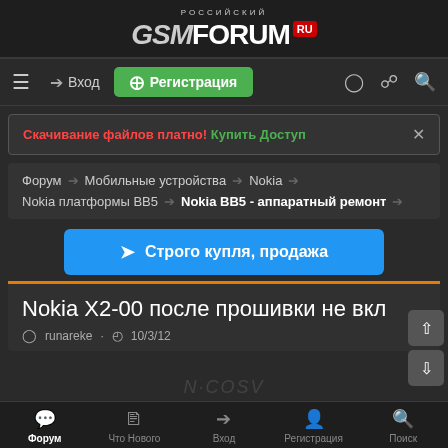[Figure (logo): Российский GSM Forum RU logo with stylized GSM text and FORUM text, RU badge in red]
Вход | Регистрация | navigation icons
Скачивание файлов платно! Купить Доступ
Форум › Мобильные устройства › Nokia › Nokia платформы BB5 › Nokia BB5 - аппаратный ремонт
Строго купля, продажа
Nokia X2-00 после прошивки не вкл
runareke · 10/3/12
Форум | Что Нового | Вход | Регистрация | Поиск